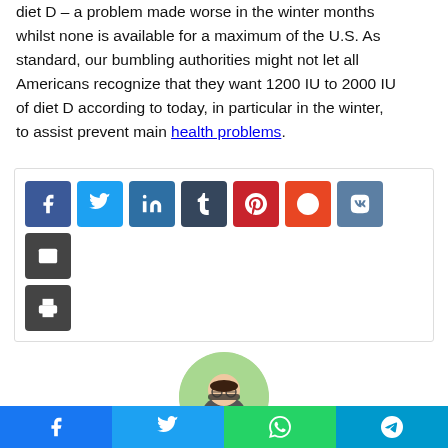diet D – a problem made worse in the winter months whilst none is available for a maximum of the U.S. As standard, our bumbling authorities might not let all Americans recognize that they want 1200 IU to 2000 IU of diet D according to today, in particular in the winter, to assist prevent main health problems.
[Figure (infographic): Social share buttons: Facebook, Twitter, LinkedIn, Tumblr, Pinterest, Reddit, VK, Email, Print]
[Figure (photo): Circular avatar photo of a young woman with glasses and dark hair, outdoors with green background]
[Figure (infographic): Bottom social share bar with Facebook, Twitter, WhatsApp, and Telegram buttons]